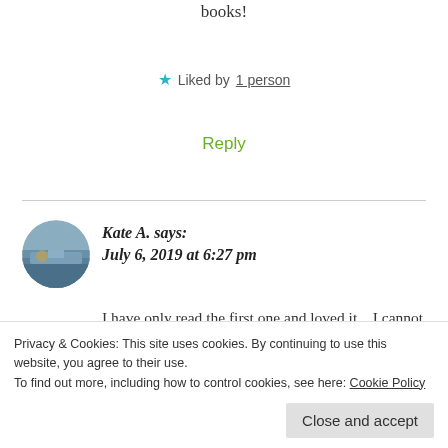books!
★ Liked by 1 person
Reply
Kate A. says:
July 6, 2019 at 6:27 pm
I have only read the first one and loved it... I cannot wait to tackle my reading list once toddler
Privacy & Cookies: This site uses cookies. By continuing to use this website, you agree to their use.
To find out more, including how to control cookies, see here: Cookie Policy
Close and accept